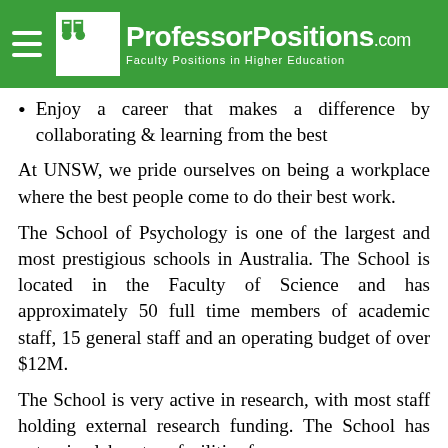ProfessorPositions.com — Faculty Positions in Higher Education
Enjoy a career that makes a difference by collaborating & learning from the best
At UNSW, we pride ourselves on being a workplace where the best people come to do their best work.
The School of Psychology is one of the largest and most prestigious schools in Australia. The School is located in the Faculty of Science and has approximately 50 full time members of academic staff, 15 general staff and an operating budget of over $12M.
The School is very active in research, with most staff holding external research funding. The School has extensive laboratory facilities for